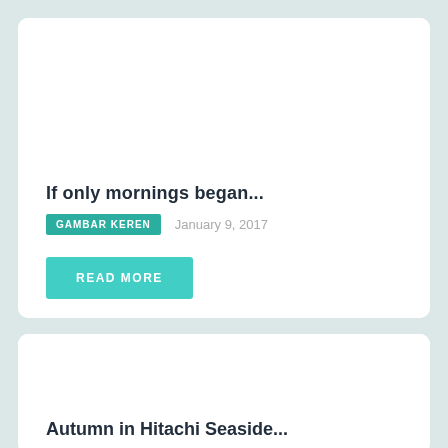If only mornings began...
GAMBAR KEREN   January 9, 2017
READ MORE
Autumn in Hitachi Seaside...